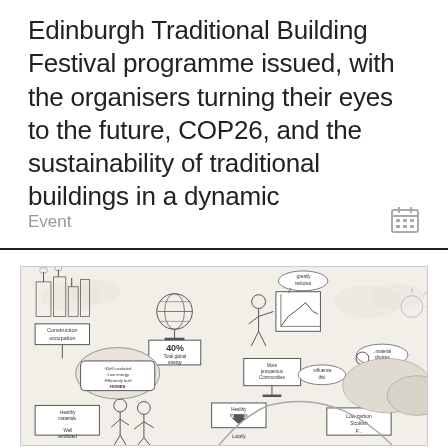Edinburgh Traditional Building Festival programme issued, with the organisers turning their eyes to the future, COP26, and the sustainability of traditional buildings in a dynamic
Event
[Figure (illustration): Hand-drawn sketch illustration about sustainable traditional buildings, showing figures with signs reading 'Construction occupation', '40% Total global energy', 'greatly reduced', 'Well insulated Low energy Efficiently built HOMES', 'More prosperous Communities', 'influence this', 'material choices', 'Healthy materials Well ventilated', 'Healthy materials', 'Locally', 'Low carbon Scottish F...' with a globe, buildings, graphs, and landscape elements.]